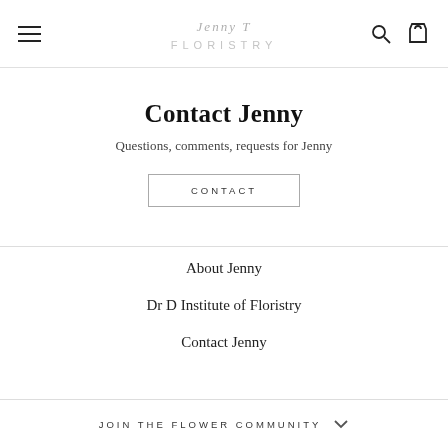Jenny T Floristry — navigation header with hamburger menu, logo, search and cart icons
Contact Jenny
Questions, comments, requests for Jenny
CONTACT
About Jenny
Dr D Institute of Floristry
Contact Jenny
JOIN THE FLOWER COMMUNITY